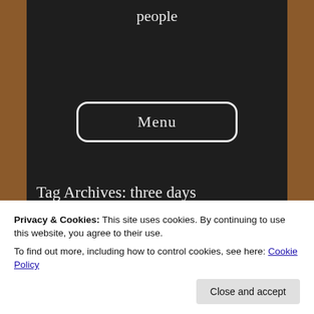people
[Figure (screenshot): A 'Menu' button with white rounded rectangle border on a dark chalkboard background]
Tag Archives: three days
Gave it up for Lent and
Privacy & Cookies: This site uses cookies. By continuing to use this website, you agree to their use.
To find out more, including how to control cookies, see here: Cookie Policy
Close and accept
primarily since life has become even more hectic than